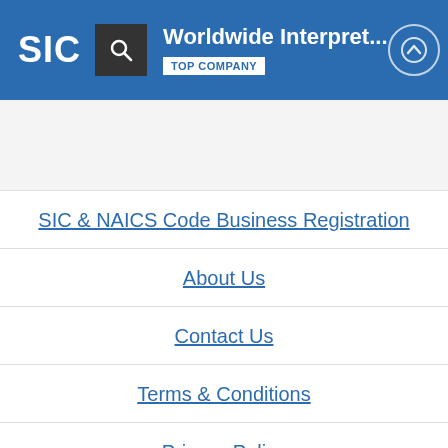SIC | Worldwide Interpret... TOP COMPANY
SIC & NAICS Code Business Registration
About Us
Contact Us
Terms & Conditions
Privacy Policy